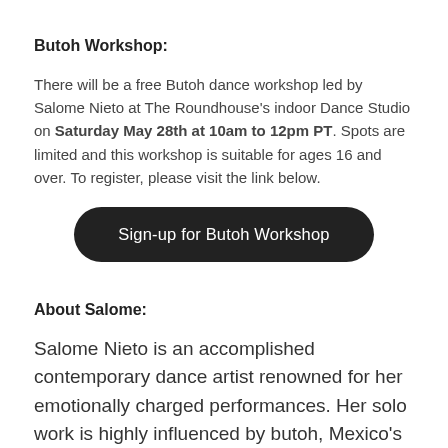Butoh Workshop:
There will be a free Butoh dance workshop led by Salome Nieto at The Roundhouse's indoor Dance Studio on Saturday May 28th at 10am to 12pm PT. Spots are limited and this workshop is suitable for ages 16 and over. To register, please visit the link below.
[Figure (other): Dark rounded button with white text reading 'Sign-up for Butoh Workshop']
About Salome:
Salome Nieto is an accomplished contemporary dance artist renowned for her emotionally charged performances. Her solo work is highly influenced by butoh, Mexico's marvellous reality and surrealism. Interdisciplinary by nature, her...